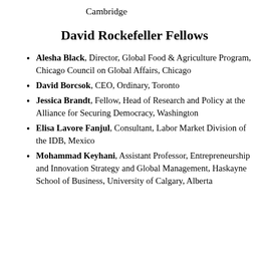Cambridge
David Rockefeller Fellows
Alesha Black, Director, Global Food & Agriculture Program, Chicago Council on Global Affairs, Chicago
David Borcsok, CEO, Ordinary, Toronto
Jessica Brandt, Fellow, Head of Research and Policy at the Alliance for Securing Democracy, Washington
Elisa Lavore Fanjul, Consultant, Labor Market Division of the IDB, Mexico
Mohammad Keyhani, Assistant Professor, Entrepreneurship and Innovation Strategy and Global Management, Haskayne School of Business, University of Calgary, Alberta